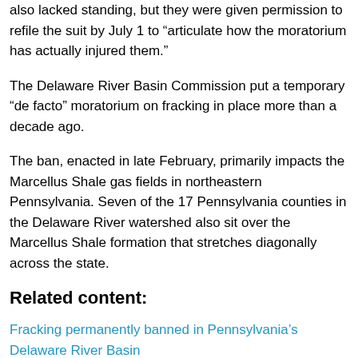also lacked standing, but they were given permission to refile the suit by July 1 to “articulate how the moratorium has actually injured them.”
The Delaware River Basin Commission put a temporary “de facto” moratorium on fracking in place more than a decade ago.
The ban, enacted in late February, primarily impacts the Marcellus Shale gas fields in northeastern Pennsylvania. Seven of the 17 Pennsylvania counties in the Delaware River watershed also sit over the Marcellus Shale formation that stretches diagonally across the state.
Related content:
Fracking permanently banned in Pennsylvania’s Delaware River Basin